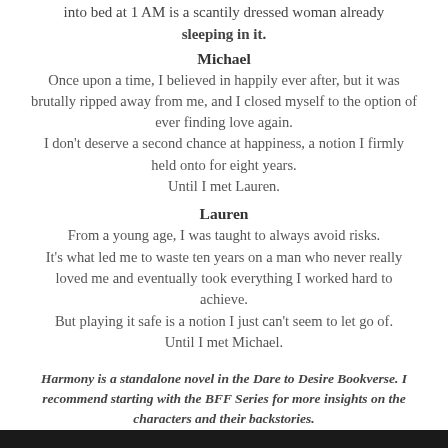into bed at 1 AM is a scantily dressed woman already sleeping in it.
Michael
Once upon a time, I believed in happily ever after, but it was brutally ripped away from me, and I closed myself to the option of ever finding love again. I don't deserve a second chance at happiness, a notion I firmly held onto for eight years. Until I met Lauren.
Lauren
From a young age, I was taught to always avoid risks. It's what led me to waste ten years on a man who never really loved me and eventually took everything I worked hard to achieve. But playing it safe is a notion I just can't seem to let go of. Until I met Michael.
Harmony is a standalone novel in the Dare to Desire Bookverse. I recommend starting with the BFF Series for more insights on the characters and their backstories.